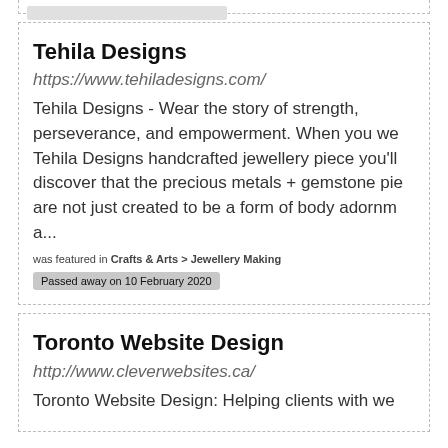Tehila Designs
https://www.tehiladesigns.com/
Tehila Designs - Wear the story of strength, perseverance, and empowerment. When you we Tehila Designs handcrafted jewellery piece you'll discover that the precious metals + gemstone pie are not just created to be a form of body adornm a...
was featured in Crafts & Arts > Jewellery Making
Passed away on 10 February 2020
Toronto Website Design
http://www.cleverwebsites.ca/
Toronto Website Design: Helping clients with we